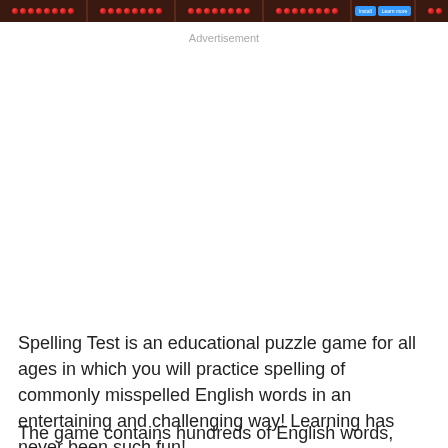[Game screenshot thumbnails strip with red dot icons and buttons]
Advertisement
Spelling Test is an educational puzzle game for all ages in which you will practice spelling of commonly misspelled English words in an entertaining and challenging way! Learning has never been such fun!
The game contains hundreds of English words, original